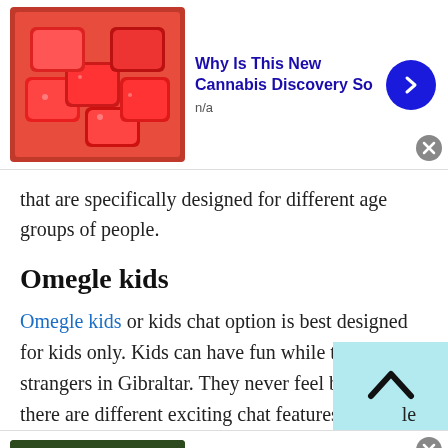[Figure (photo): Advertisement banner with red candy gummies image]
Why Is This New Cannabis Discovery So
n/a
that are specifically designed for different age groups of people.
Omegle kids
Omegle kids or kids chat option is best designed for kids only. Kids can have fun while talking to strangers in Gibraltar. They never feel bored as there are different exciting chat features available at TWS Omegle kids random chat room. There is no
[Figure (photo): Advertisement banner with green drink/detox image]
Drink This Before Bed and Drop Body Weight
n/a